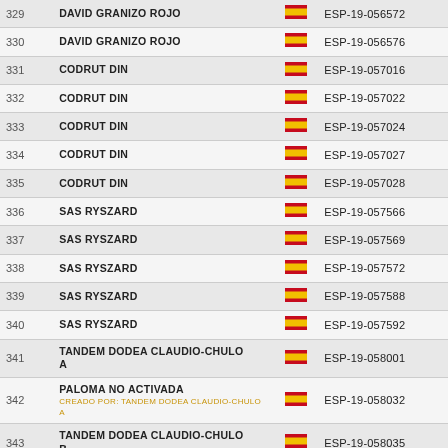| # | Name | Flag | Code |
| --- | --- | --- | --- |
| 329 | DAVID GRANIZO ROJO | ESP | ESP-19-056572 |
| 330 | DAVID GRANIZO ROJO | ESP | ESP-19-056576 |
| 331 | CODRUT DIN | ESP | ESP-19-057016 |
| 332 | CODRUT DIN | ESP | ESP-19-057022 |
| 333 | CODRUT DIN | ESP | ESP-19-057024 |
| 334 | CODRUT DIN | ESP | ESP-19-057027 |
| 335 | CODRUT DIN | ESP | ESP-19-057028 |
| 336 | SAS RYSZARD | ESP | ESP-19-057566 |
| 337 | SAS RYSZARD | ESP | ESP-19-057569 |
| 338 | SAS RYSZARD | ESP | ESP-19-057572 |
| 339 | SAS RYSZARD | ESP | ESP-19-057588 |
| 340 | SAS RYSZARD | ESP | ESP-19-057592 |
| 341 | TANDEM DODEA CLAUDIO-CHULO A | ESP | ESP-19-058001 |
| 342 | PALOMA NO ACTIVADA | ESP | ESP-19-058032 |
| 343 | TANDEM DODEA CLAUDIO-CHULO B | ESP | ESP-19-058035 |
| 344 | TANDEM DODEA CLAUDIO-CHULO B | ESP | ESP-19-058043 |
| 345 | TANDEM DODEA CLAUDIO-CHULO B | ESP | ESP-19-058050 |